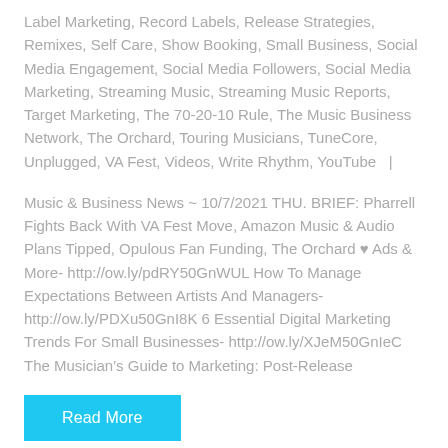Label Marketing, Record Labels, Release Strategies, Remixes, Self Care, Show Booking, Small Business, Social Media Engagement, Social Media Followers, Social Media Marketing, Streaming Music, Streaming Music Reports, Target Marketing, The 70-20-10 Rule, The Music Business Network, The Orchard, Touring Musicians, TuneCore, Unplugged, VA Fest, Videos, Write Rhythm, YouTube  |
Music & Business News ~ 10/7/2021 THU. BRIEF: Pharrell Fights Back With VA Fest Move, Amazon Music & Audio Plans Tipped, Opulous Fan Funding, The Orchard ♥ Ads & More- http://ow.ly/pdRY50GnWUL How To Manage Expectations Between Artists And Managers- http://ow.ly/PDXu50GnI8K 6 Essential Digital Marketing Trends For Small Businesses- http://ow.ly/XJeM50GnIeC The Musician's Guide to Marketing: Post-Release
Read More